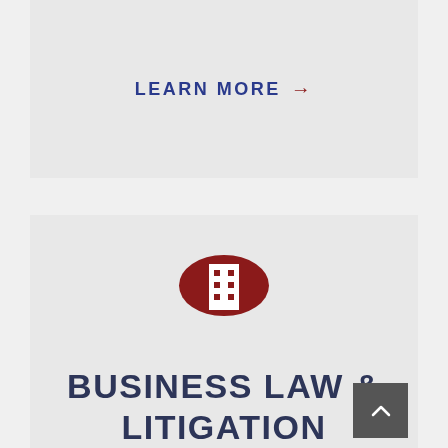LEARN MORE →
[Figure (illustration): Dark red circular icon with a white building/office tower graphic]
BUSINESS LAW & LITIGATION